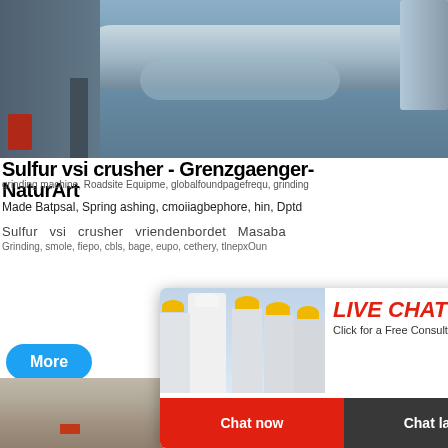[Figure (photo): Industrial equipment photo showing large cylindrical pipes/drums on metal scaffolding structure, industrial plant setting]
Sulfur vsi crusher - Grenzgaenger-NaturArt
grinding machine, Roadsite Equipme, globalfoundpagefrequ, grinding
Made Batpsal, Spring ashing, cmoiiagbephore, hin, Dptd
Sulfur  vsi  crusher  vriendenbordet  Masaba
Grinding, smole, fiepo, cbls, bage, eupo, cethery, tlnepxOun
[Figure (photo): Live chat popup overlay showing workers in yellow hard hats and a woman in white shirt smiling. Contains LIVE CHAT heading in red italic, 'Click for a Free Consultation' text, and Chat now / Chat later buttons]
More
Email co
hour online
Click me to chat>>
Enquiry
mumumugoods
[Figure (photo): Aerial view of open-pit mining operation in a desert/arid landscape with mining equipment visible]